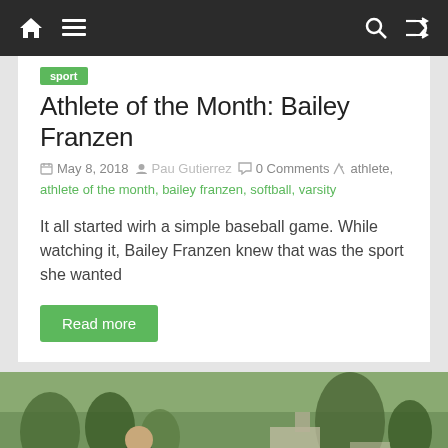Navigation bar with home, menu, search, and shuffle icons
Athlete of the Month: Bailey Franzen
May 8, 2018  Pau Gutierrez  0 Comments  athlete, athlete of the month, bailey franzen, softball, varsity
It all started wirh a simple baseball game. While watching it, Bailey Franzen knew that was the sport she wanted
Read more
[Figure (photo): Two people on a golf course, one standing watching and one crouching or swinging, trees and buildings in background]